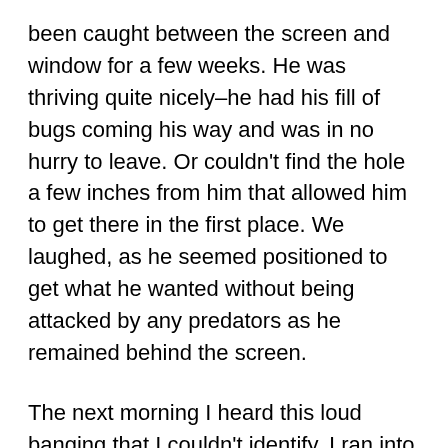been caught between the screen and window for a few weeks. He was thriving quite nicely–he had his fill of bugs coming his way and was in no hurry to leave. Or couldn't find the hole a few inches from him that allowed him to get there in the first place. We laughed, as he seemed positioned to get what he wanted without being attacked by any predators as he remained behind the screen.
The next morning I heard this loud banging that I couldn't identify. I ran into the kitchen to see one of the cranes dragging the lizard out of a new hole it had made in our screen. You could almost hear the little pathetic cries for help from the lizard, who was seen being ripped apart by the